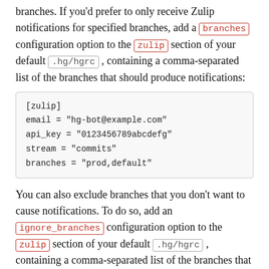branches. If you'd prefer to only receive Zulip notifications for specified branches, add a branches configuration option to the zulip section of your default .hg/hgrc , containing a comma-separated list of the branches that should produce notifications:
[zulip]
email = "hg-bot@example.com"
api_key = "0123456789abcdefg"
stream = "commits"
branches = "prod,default"
You can also exclude branches that you don't want to cause notifications. To do so, add an ignore_branches configuration option to the zulip section of your default .hg/hgrc , containing a comma-separated list of the branches that should be ignored: